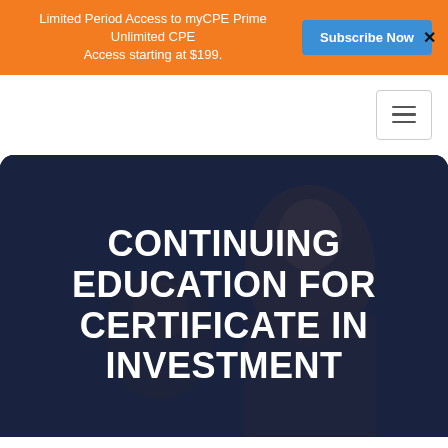Limited Period Access to myCPE Prime Unlimited CPE Access starting at $199.
Subscribe Now
[Figure (screenshot): Navigation bar with hamburger menu icon button on the right side]
[Figure (photo): Dark overlay hero image with two professionals in background]
CONTINUING EDUCATION FOR CERTIFICATE IN INVESTMENT